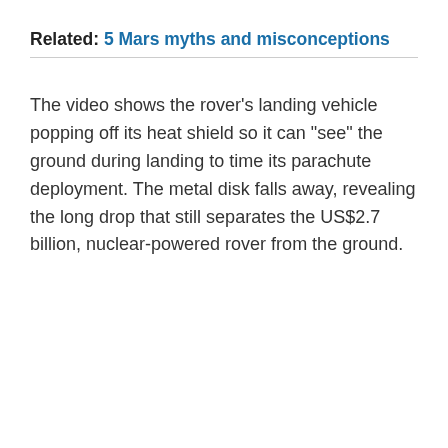Related: 5 Mars myths and misconceptions
The video shows the rover's landing vehicle popping off its heat shield so it can "see" the ground during landing to time its parachute deployment. The metal disk falls away, revealing the long drop that still separates the US$2.7 billion, nuclear-powered rover from the ground.